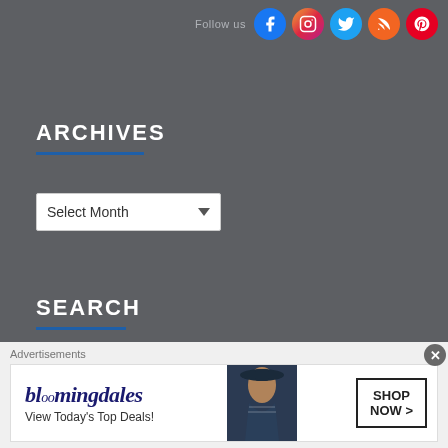Follow us [social icons: Facebook, Instagram, Twitter, RSS, Pinterest]
ARCHIVES
Select Month [dropdown]
SEARCH
Search ... [search box with Search button]
RECENT POSTS
[Figure (infographic): Bloomingdales advertisement banner: 'View Today's Top Deals!' with 'SHOP NOW >' button and woman in hat image. Labeled 'Advertisements'.]